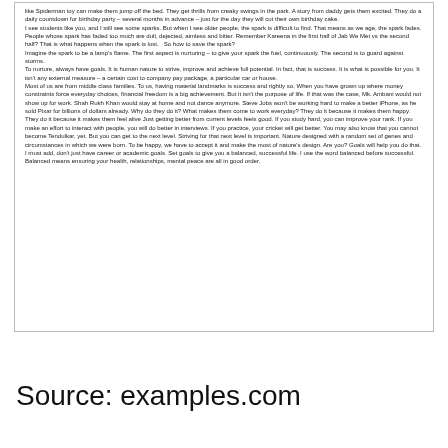like Spiderman toy can make them jump off the bed. They get thrills from creaky swings in the park. A story from daddy gets them excited. They do a daily countdown for birthday party – several months in advance – just for the day they will cut their own birthday cake.
I see students like you, and I still see some sparks. But when I see older people, the spark is difficult to find. That means as we age, the spark fades. People whose spark has faded too much are dull, dejected, aimless and bitter. Remember Kareena in the first half of Jab We Met vs the second half? That is what happens when the spark is lost.   So how to save the spark?
Imagine the spark to be a lamp's flame. The first aspect is nurturing – to give your spark the fuel, continuously. The second is to guard against storms.
To nurture, always have goals. It is human nature to strive, improve and achieve full potential. In fact, that is success. It is what is possible for you. It isn't any external measure – a certain cost to company pay package, a particular car or house.
Most of us are from middle class families. To us, having material landmarks is success and rightly so. When you have grown up where money constraints force everyday choices, financial freedom is a big achievement. But it isn't the purpose of life. If that was the case, Mk. Ambani would not show up for work. Shah Rukh Khan would stay at home and not dance anymore. Steve Jobs won't be working hard to make a better iPhone, as he sold Pixar for billions of dollars already. Why do they do it? What makes them come to work everyday? They do it because it makes them happy. They do it because it makes them feel alive Just getting better from current levels feels good. If you study hard, you can improve your rank. If you make an effort to interact with people, you will do better in interviews. If you practice, your cricket will get better. You may also know that you cannot become Tendulkar, yet. But you can get to the next level. Striving for that next level is important. Nature designed with a random set of genes and circumstances in which we were born. To be happy, we have to accept it and make the most of nature's design. Are you? Goals will help you do that. I must add, don't just have career or academic goals. Set goals to give you a balanced, successful life. I use the word balanced before successful. Balanced means ensuring your health, relationships, mental peace are all in good order.
Source: examples.com